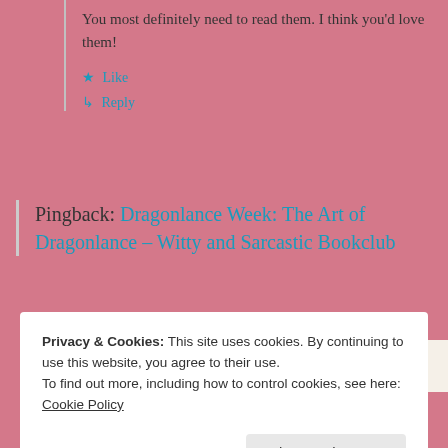You most definitely need to read them. I think you'd love them!
★ Like
↳ Reply
Pingback: Dragonlance Week: The Art of Dragonlance – Witty and Sarcastic Bookclub
in less than a week
Privacy & Cookies: This site uses cookies. By continuing to use this website, you agree to their use.
To find out more, including how to control cookies, see here: Cookie Policy
Close and accept